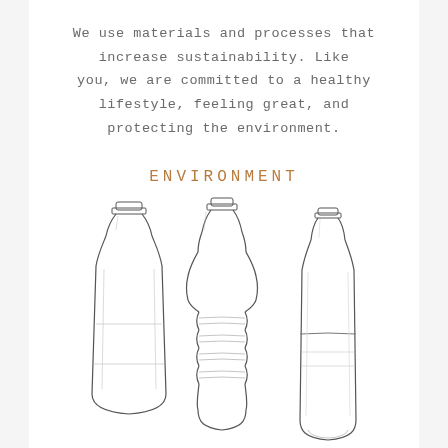We use materials and processes that increase sustainability. Like you, we are committed to a healthy lifestyle, feeling great, and protecting the environment.
ENVIRONMENT
[Figure (illustration): Sketch-style illustration of three plastic water bottles of varying shapes side by side on a white background.]